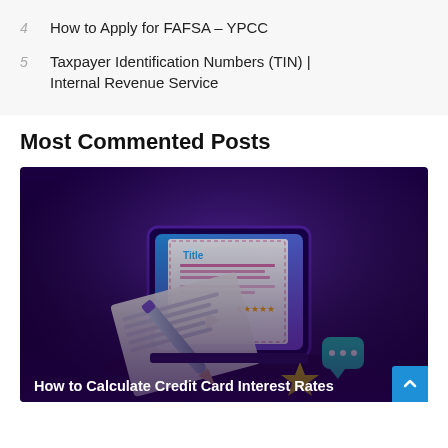4  How to Apply for FAFSA – YPCC
5  Taxpayer Identification Numbers (TIN) | Internal Revenue Service
Most Commented Posts
[Figure (illustration): Illustration of a laptop with a document/form on screen, a pen, a star, and chat bubbles on a dark purple background. Text overlay reads 'How to Calculate Credit Card Interest Rates'.]